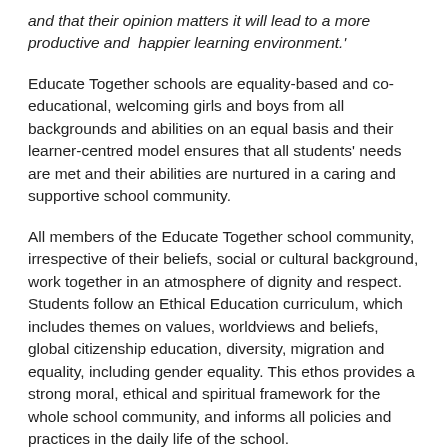and that their opinion matters it will lead to a more productive and  happier learning environment.'
Educate Together schools are equality-based and co-educational, welcoming girls and boys from all backgrounds and abilities on an equal basis and their learner-centred model ensures that all students' needs are met and their abilities are nurtured in a caring and supportive school community.
All members of the Educate Together school community, irrespective of their beliefs, social or cultural background, work together in an atmosphere of dignity and respect. Students follow an Ethical Education curriculum, which includes themes on values, worldviews and beliefs, global citizenship education, diversity, migration and equality, including gender equality. This ethos provides a strong moral, ethical and spiritual framework for the whole school community, and informs all policies and practices in the daily life of the school.